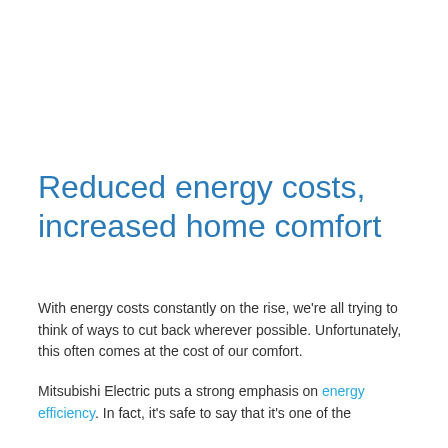Reduced energy costs, increased home comfort
With energy costs constantly on the rise, we're all trying to think of ways to cut back wherever possible. Unfortunately, this often comes at the cost of our comfort.
Mitsubishi Electric puts a strong emphasis on energy efficiency. In fact, it's safe to say that it's one of the